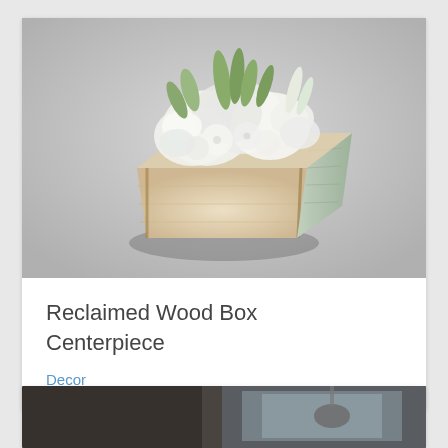[Figure (photo): A rustic reclaimed wood box centerpiece filled with white hydrangeas and green foliage, photographed against a light gray background.]
Reclaimed Wood Box Centerpiece
Decor
[Figure (photo): Bottom portion of a second product card showing a dark interior photo, partially visible.]